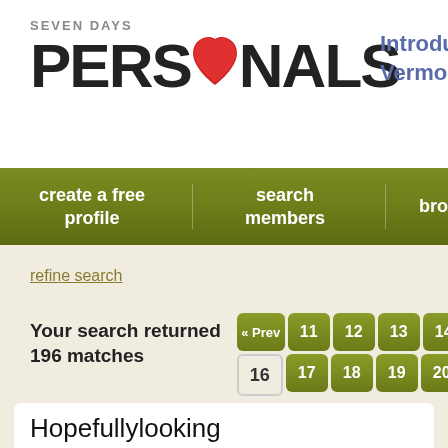SEVEN DAYS PERSONALS — Introducing Vermonter
create a free profile
search members
browse photos
refine search
Your search returned 196 matches
« Prev 11 12 13 14 16 17 18 19 20 Ne»
Hopefullylooking
Looking for :?
Hello I'm here
Age: 67
I'm a/We're a: Man
Location: Milton
Woman for Dating